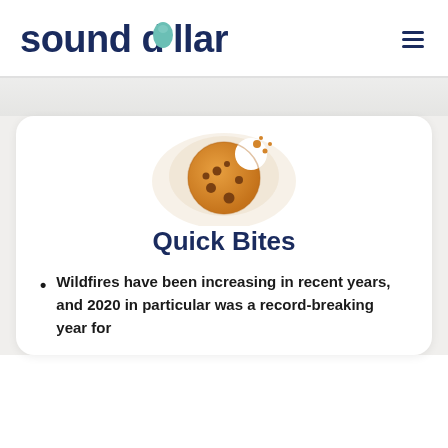sound dollar
[Figure (illustration): Illustration of a chocolate chip cookie with a bite taken out of it, with crumbs scattered around it on a light splattered background]
Quick Bites
Wildfires have been increasing in recent years, and 2020 in particular was a record-breaking year for